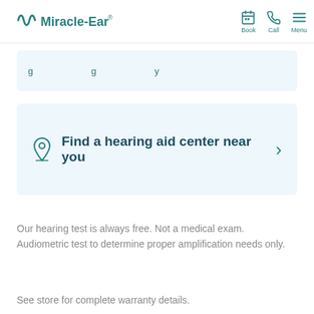[Figure (logo): Miracle-Ear logo with teal wave mark and wordmark]
Find a hearing aid center near you
Our hearing test is always free. Not a medical exam. Audiometric test to determine proper amplification needs only.
See store for complete warranty details.